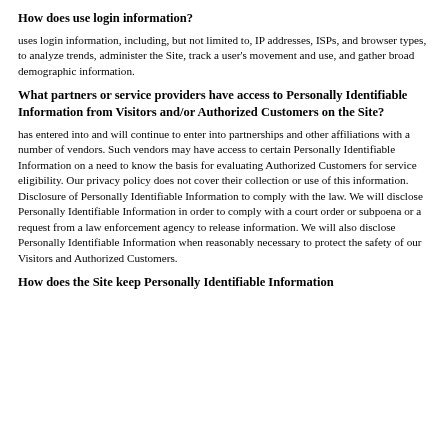How does use login information?
uses login information, including, but not limited to, IP addresses, ISPs, and browser types, to analyze trends, administer the Site, track a user's movement and use, and gather broad demographic information.
What partners or service providers have access to Personally Identifiable Information from Visitors and/or Authorized Customers on the Site?
has entered into and will continue to enter into partnerships and other affiliations with a number of vendors. Such vendors may have access to certain Personally Identifiable Information on a need to know the basis for evaluating Authorized Customers for service eligibility. Our privacy policy does not cover their collection or use of this information. Disclosure of Personally Identifiable Information to comply with the law. We will disclose Personally Identifiable Information in order to comply with a court order or subpoena or a request from a law enforcement agency to release information. We will also disclose Personally Identifiable Information when reasonably necessary to protect the safety of our Visitors and Authorized Customers.
How does the Site keep Personally Identifiable Information